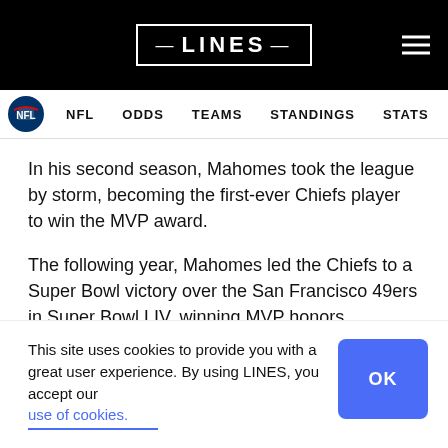LINES
NFL  ODDS  TEAMS  STANDINGS  STATS  SCHED
In his second season, Mahomes took the league by storm, becoming the first-ever Chiefs player to win the MVP award.
The following year, Mahomes led the Chiefs to a Super Bowl victory over the San Francisco 49ers in Super Bowl LIV, winning MVP honors.
PATRICK MAHOMES NET WORTH, SALARY, ENDORSEMENTS & CAREER
This site uses cookies to provide you with a great user experience. By using LINES, you accept our use of cookies.